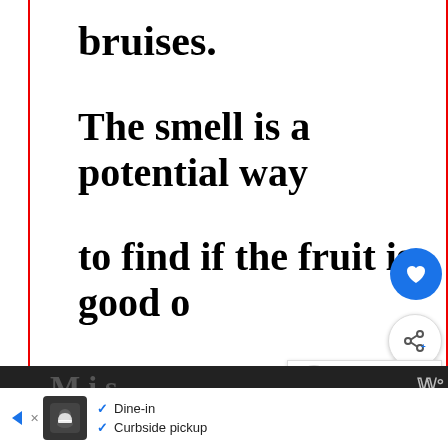bruises.
The smell is a potential way
to find if the fruit is good or
not.
[Figure (screenshot): UI overlay with heart/like button (blue circle), share button (white circle with share icon), and a 'What's Next' panel showing green vegetable image with text 'How long does green...']
[Figure (screenshot): Advertisement strip at bottom showing restaurant ad with Dine-in and Curbside pickup options, chef logo, navigation arrow button]